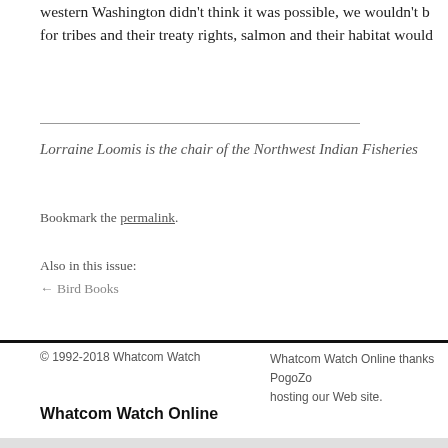western Washington didn't think it was possible, we wouldn't be here for tribes and their treaty rights, salmon and their habitat would…
Lorraine Loomis is the chair of the Northwest Indian Fisheries…
Bookmark the permalink.
Also in this issue:
← Bird Books
© 1992-2018 Whatcom Watch     Whatcom Watch Online thanks PogoZo… hosting our Web site.
Whatcom Watch Online